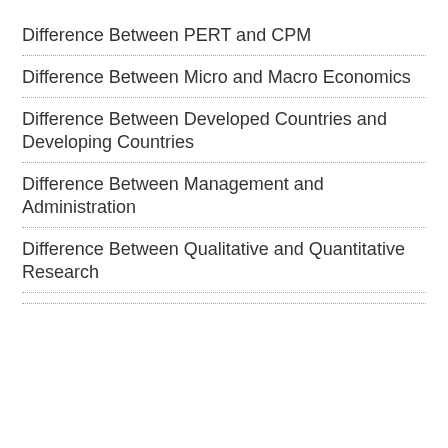Difference Between PERT and CPM
Difference Between Micro and Macro Economics
Difference Between Developed Countries and Developing Countries
Difference Between Management and Administration
Difference Between Qualitative and Quantitative Research